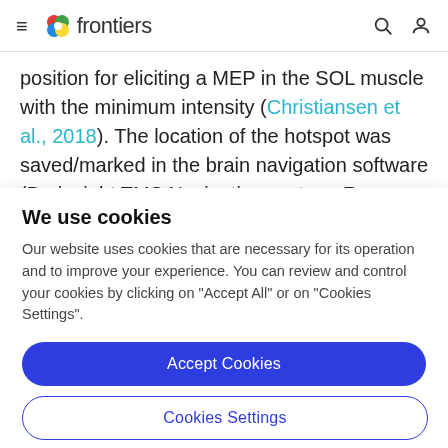frontiers
position for eliciting a MEP in the SOL muscle with the minimum intensity (Christiansen et al., 2018). The location of the hotspot was saved/marked in the brain navigation software (Brainsight TMS Navigation system, Rogue Research, Cardiff, United Kingdom). After identifying the
We use cookies
Our website uses cookies that are necessary for its operation and to improve your experience. You can review and control your cookies by clicking on "Accept All" or on "Cookies Settings".
Accept Cookies
Cookies Settings